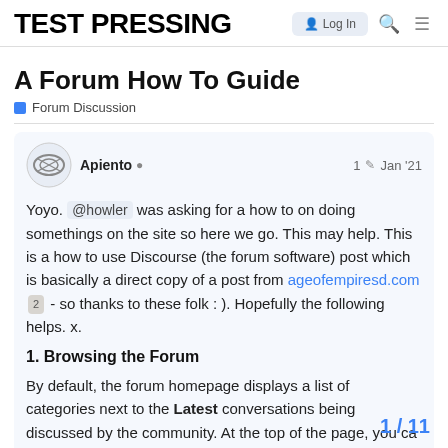TEST PRESSING
A Forum How To Guide
Forum Discussion
Apiento  1  Jan '21
Yoyo. @howler was asking for a how to on doing somethings on the site so here we go. This may help. This is a how to use Discourse (the forum software) post which is basically a direct copy of a post from ageofempiresd.com 2 - so thanks to these folk : ). Hopefully the following helps. x.
1. Browsing the Forum
By default, the forum homepage displays a list of categories next to the Latest conversations being discussed by the community. At the top of the page, you ca switching between the different views:
1 / 11